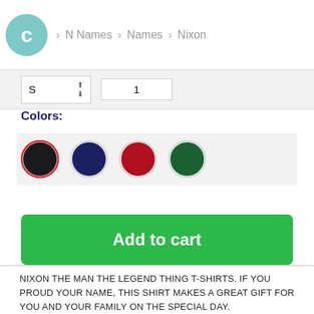C > N Names > Names > Nixon
S  1
Colors:
[Figure (other): Four color swatches: black (selected with red outline), dark navy blue, red, dark green]
Add to cart
NIXON THE MAN THE LEGEND THING T-SHIRTS. IF YOU PROUD YOUR NAME, THIS SHIRT MAKES A GREAT GIFT FOR YOU AND YOUR FAMILY ON THE SPECIAL DAY.
---
NIXON NAME, NIXON LEGEND, NIXON T SHIRTS, NIXON THING SHIRTS, NIXON TEES, NIXON HOODIES, NIXON SWEATERS, NIXON